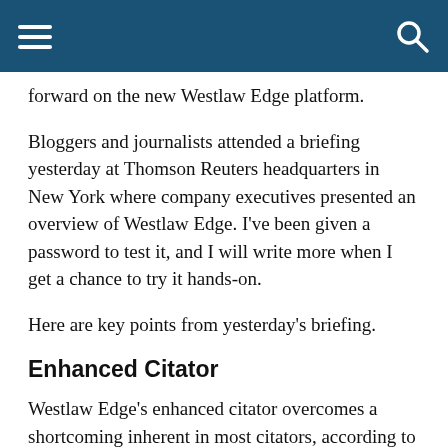forward on the new Westlaw Edge platform.
Bloggers and journalists attended a briefing yesterday at Thomson Reuters headquarters in New York where company executives presented an overview of Westlaw Edge. I’ve been given a password to test it, and I will write more when I get a chance to try it hands-on.
Here are key points from yesterday’s briefing.
Enhanced Citator
Westlaw Edge’s enhanced citator overcomes a shortcoming inherent in most citators, according to Mike Dahn, senior vice president, Product